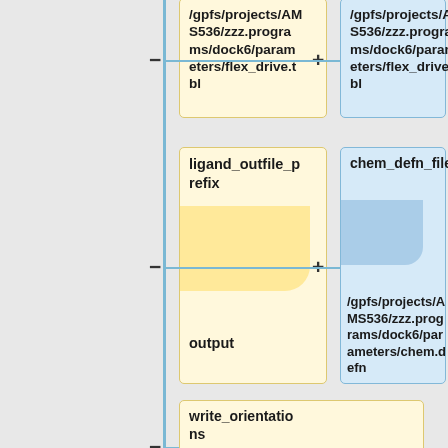[Figure (flowchart): A flowchart / tree diagram showing configuration parameters for a molecular docking program (DOCK6). Nodes are shown as yellow or blue rounded boxes connected by lines to a vertical blue bar. Parameters shown include: /gpfs/projects/AMS536/zzz.programs/dock6/parameters/flex_drive.tbl (yellow and blue), ligand_outfile_prefix / output (yellow), chem_defn_file / /gpfs/projects/AMS536/zzz.programs/dock6/parameters/chem.defn (blue), write_orientations / no (yellow), num_scored_conformers (yellow).]